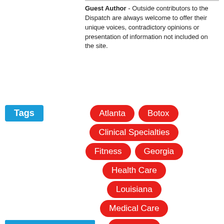Guest Author - Outside contributors to the Dispatch are always welcome to offer their unique voices, contradictory opinions or presentation of information not included on the site.
[Figure (infographic): Tag cloud with blue 'Tags' label and red rounded-rectangle tags: Atlanta, Botox, Clinical Specialties, Fitness, Georgia, Health Care, Louisiana, Medical Care, Nashville, New Orleans, New Technology, Planet Fitness, Tennessee, Toxins, Tulane, Uber]